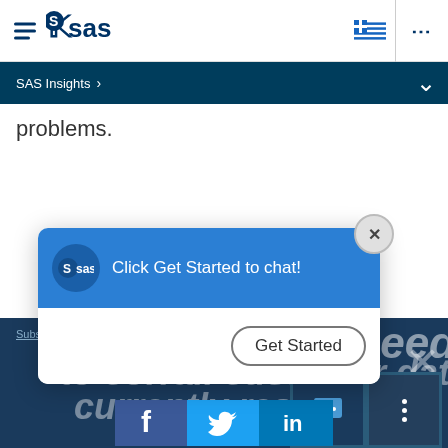SAS logo navigation bar with hamburger menu, flag icon, and more options
SAS Insights >
problems.
[Figure (screenshot): Chat popup with SAS logo, text 'Click Get Started to chat!' blue header, and 'Get Started' button with close X button]
Subscribe to Insights newsletter | need to corrall customer data currently residing | social icons: Facebook, Twitter, LinkedIn